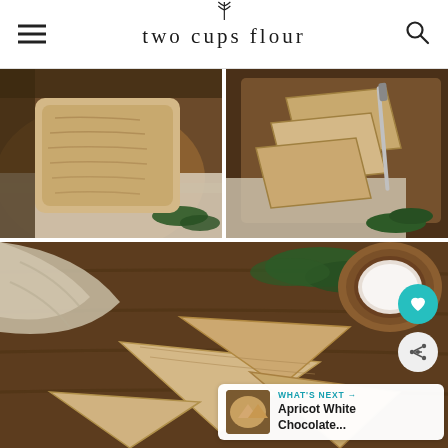two cups flour
[Figure (photo): Overhead view of a whole loaf of flat bread on a wooden cutting board with a linen cloth and green pine sprigs]
[Figure (photo): Overhead view of sliced flatbread triangles on a wooden board with a knife, linen cloth, and pine sprigs]
[Figure (photo): Close-up overhead view of flatbread triangle pieces on a dark wooden surface with linen cloth, pine sprigs, and a wooden bowl with powdered sugar; action buttons for heart and share visible; What's Next callout for Apricot White Chocolate...]